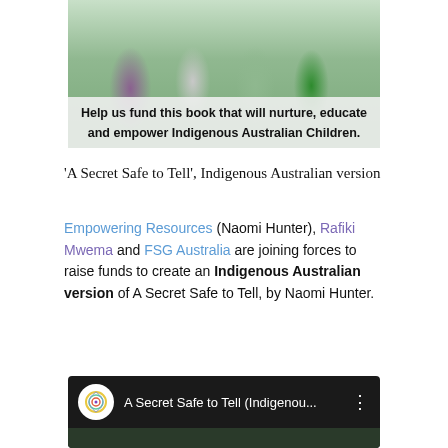[Figure (photo): Photo of Indigenous Australian children in traditional dress/body paint, with a semi-transparent caption bar reading 'Help us fund this book that will nurture, educate and empower Indigenous Australian Children.']
'A Secret Safe to Tell', Indigenous Australian version
Empowering Resources (Naomi Hunter), Rafiki Mwema and FSG Australia are joining forces to raise funds to create an Indigenous Australian version of A Secret Safe to Tell, by Naomi Hunter.
[Figure (screenshot): Screenshot of a video thumbnail/player showing 'A Secret Safe to Tell (Indigenou...' with a circular logo icon on the left and three-dot menu on the right, on a dark background.]